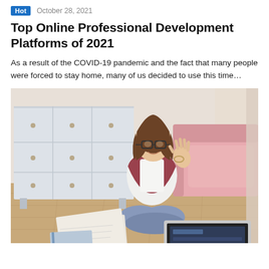Hot   October 28, 2021
Top Online Professional Development Platforms of 2021
As a result of the COVID-19 pandemic and the fact that many people were forced to stay home, many of us decided to use this time…
[Figure (photo): Young woman with glasses sitting cross-legged on a wooden floor in front of a pink sofa, waving at a laptop, with notebooks and papers around her, and a white dresser in the background.]